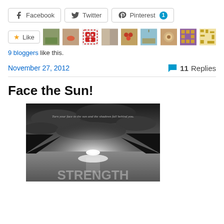[Figure (screenshot): Social share buttons: Facebook, Twitter, Pinterest with badge showing 1]
[Figure (screenshot): Like button with star icon, followed by a strip of 9 small blogger avatar thumbnails]
9 bloggers like this.
November 27, 2012    💬 11 Replies
Face the Sun!
[Figure (photo): Black and white dramatic landscape photo of a sunrise over water with mountains, text overlay reads: Turn your face to the sun and the shadows fall behind you. Bold text at the bottom partially visible.]